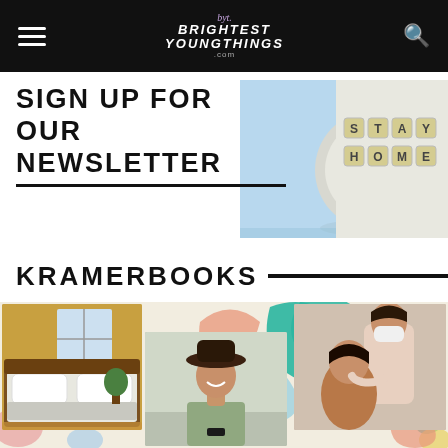Brightest Young Things - BYT navigation bar
SIGN UP FOR OUR NEWSLETTER
[Figure (photo): Toilet paper roll on blue background]
[Figure (photo): Scrabble tiles spelling STAY HOME on white background]
KRAMERBOOKS
[Figure (photo): Collage of photos: hotel bed, woman in hat, two women wearing masks, with colorful abstract leaf and shape decorations on cream background]